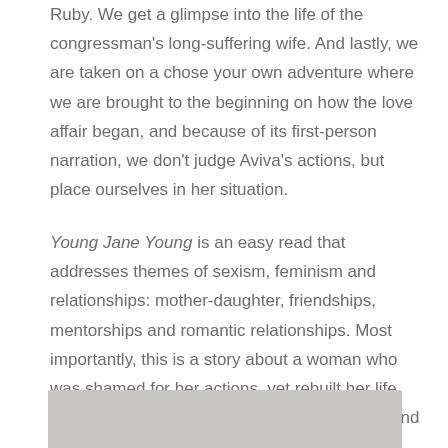Ruby. We get a glimpse into the life of the congressman's long-suffering wife. And lastly, we are taken on a chose your own adventure where we are brought to the beginning on how the love affair began, and because of its first-person narration, we don't judge Aviva's actions, but place ourselves in her situation.
Young Jane Young is an easy read that addresses themes of sexism, feminism and relationships: mother-daughter, friendships, mentorships and romantic relationships. Most importantly, this is a story about a woman who was shamed for her actions, yet rebuilt her life instead of being ashamed. I really enjoyed it, and if you read it, I hope you do too.
[Figure (photo): A light gray rectangular image placeholder at the bottom of the page.]